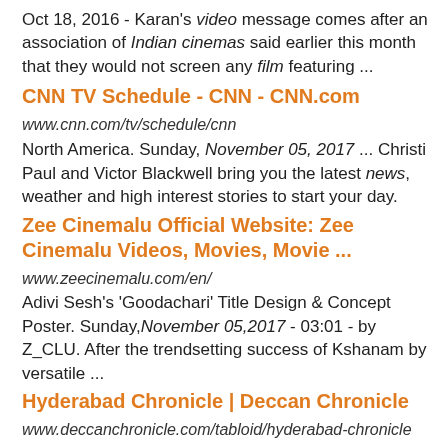Oct 18, 2016 - Karan's video message comes after an association of Indian cinemas said earlier this month that they would not screen any film featuring ...
CNN TV Schedule - CNN - CNN.com
www.cnn.com/tv/schedule/cnn
North America. Sunday, November 05, 2017 ... Christi Paul and Victor Blackwell bring you the latest news, weather and high interest stories to start your day.
Zee Cinemalu Official Website: Zee Cinemalu Videos, Movies, Movie ...
www.zeecinemalu.com/en/
Adivi Sesh's 'Goodachari' Title Design & Concept Poster. Sunday,November 05,2017 - 03:01 - by Z_CLU. After the trendsetting success of Kshanam by versatile ...
Hyderabad Chronicle | Deccan Chronicle
www.deccanchronicle.com/tabloid/hyderabad-chronicle
Exclusive News From The City Of Hyderabad, Its People, Its Politics. ... Sunday, November 05, 2017. Priyanka Chopra ... Sudheer Babu announces films lineup.
India wants news in local languages - Rediff.com India News